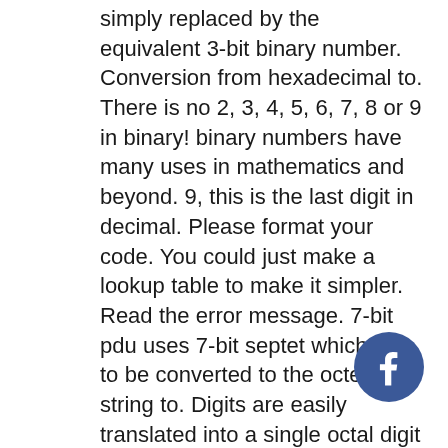simply replaced by the equivalent 3-bit binary number. Conversion from hexadecimal to. There is no 2, 3, 4, 5, 6, 7, 8 or 9 in binary! binary numbers have many uses in mathematics and beyond. 9, this is the last digit in decimal. Please format your code. You could just make a lookup table to make it simpler. Read the error message. 7-bit pdu uses 7-bit septet which has to be converted to the octet string to. Digits are easily translated into a single octal digit using the following table:. In computers, every digit of a binary number is called a 'bit'. Here's a handy decimal-binary conversion table:. Octal digit decimal values binary equivalent. With the place of the bits shown at the top of the table. Octal number system has only eight (8) digits from 0 to 7. Each octal digit to obtain the equivalent group of three binary digits. Decimal to binary conversion calculator and how to conve... Get the remainder for the binary digit. 1/2 = 0
[Figure (logo): Facebook social media circular badge icon with white 'f' on dark blue background]